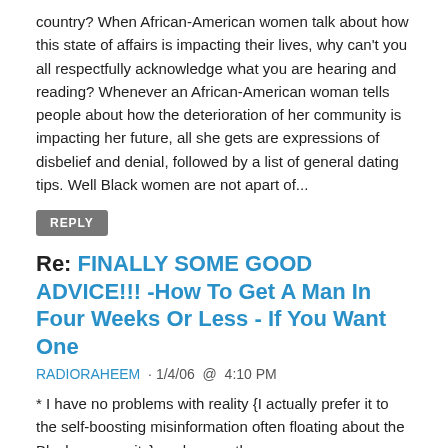country? When African-American women talk about how this state of affairs is impacting their lives, why can't you all respectfully acknowledge what you are hearing and reading? Whenever an African-American woman tells people about how the deterioration of her community is impacting her future, all she gets are expressions of disbelief and denial, followed by a list of general dating tips. Well Black women are not apart of...
REPLY
Re: FINALLY SOME GOOD ADVICE!!! -How To Get A Man In Four Weeks Or Less - If You Want One
RADIORAHEEM · 1/4/06  @  4:10 PM
* I have no problems with reality {I actually prefer it to the self-boosting misinformation often floating about the Black community}, so long as those women acknowledge that they chose to date those guys all by themselves [cherry picked]. It was her choice to date/pursue Joe Thug and Ray-ray and thus it was her 'fault' when they let her down. If you sleep with dogs, you just might wake up with fleas and puppies!!! She also can't blame 'sane' black men that didn't appeal to her 'Ray-Ray'...
REPLY